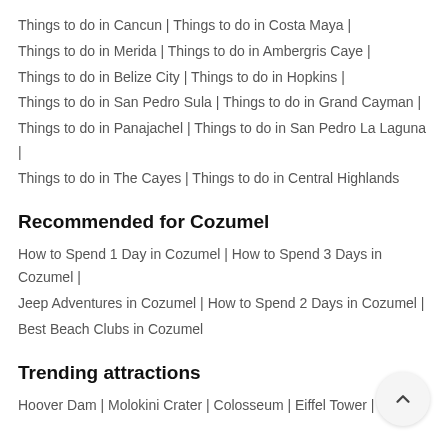Things to do in Cancun | Things to do in Costa Maya | Things to do in Merida | Things to do in Ambergris Caye | Things to do in Belize City | Things to do in Hopkins | Things to do in San Pedro Sula | Things to do in Grand Cayman | Things to do in Panajachel | Things to do in San Pedro La Laguna | Things to do in The Cayes | Things to do in Central Highlands
Recommended for Cozumel
How to Spend 1 Day in Cozumel | How to Spend 3 Days in Cozumel | Jeep Adventures in Cozumel | How to Spend 2 Days in Cozumel | Best Beach Clubs in Cozumel
Trending attractions
Hoover Dam | Molokini Crater | Colosseum | Eiffel Tower |